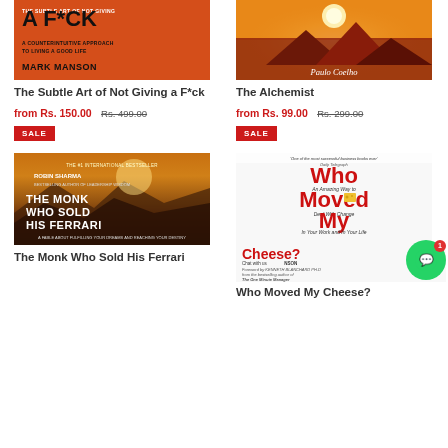[Figure (photo): Book cover of The Subtle Art of Not Giving a F*ck by Mark Manson, orange background]
The Subtle Art of Not Giving a F*ck
from Rs. 150.00
Rs. 499.00
SALE
[Figure (photo): Book cover of The Alchemist by Paulo Coelho, orange/sunset mountains background]
The Alchemist
from Rs. 99.00  Rs. 299.00
SALE
[Figure (photo): Book cover of The Monk Who Sold His Ferrari by Robin Sharma]
[Figure (photo): Book cover of Who Moved My Cheese? with Chat with us WhatsApp button overlay]